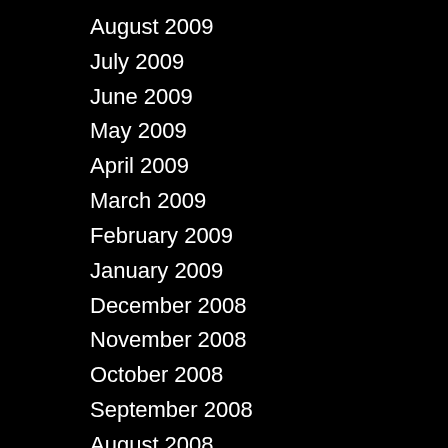August 2009
July 2009
June 2009
May 2009
April 2009
March 2009
February 2009
January 2009
December 2008
November 2008
October 2008
September 2008
August 2008
July 2008
March 2008